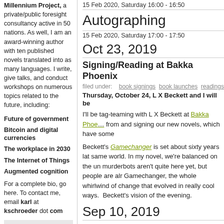Millennium Project, a private/public foresight consultancy active in 50 nations. As well, I am an award-winning author with ten published novels translated into as many languages. I write, give talks, and conduct workshops on numerous topics related to the future, including:
Future of government
Bitcoin and digital currencies
The workplace in 2030
The Internet of Things
Augmented cognition
For a complete bio, go here. To contact me, email karl at kschroeder dot com
EXAMPLE: THE FUTURE OF GOVERNANCE
I use Science Fiction to
15 Feb 2020, Saturday 16:00 - 16:50
Autographing
15 Feb 2020, Saturday 17:00 - 17:50
Oct 23, 2019
Signing/Reading at Bakka Phoenix
filed under: book signings  book launches  readings
Thursday, October 24, L X Beckett and I will be
I'll be tag-teaming with L X Beckett at Bakka Phoenix from and signing our new novels, which have some
Beckett's Gamechanger is set about sixty years lat same world. In my novel, we're balanced on the un murderbots aren't quite here yet, but people are alr Gamechanger, the whole whirlwind of change that evolved in really cool ways. Beckett's vision of the evening.
Sep 10, 2019
Upcoming Appearances
filed under: book launches future of